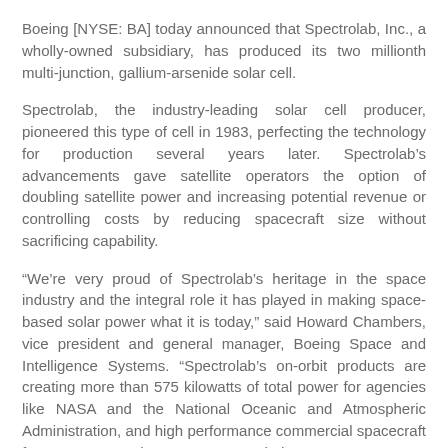Boeing [NYSE: BA] today announced that Spectrolab, Inc., a wholly-owned subsidiary, has produced its two millionth multi-junction, gallium-arsenide solar cell.
Spectrolab, the industry-leading solar cell producer, pioneered this type of cell in 1983, perfecting the technology for production several years later. Spectrolab’s advancements gave satellite operators the option of doubling satellite power and increasing potential revenue or controlling costs by reducing spacecraft size without sacrificing capability.
“We’re very proud of Spectrolab’s heritage in the space industry and the integral role it has played in making space-based solar power what it is today,” said Howard Chambers, vice president and general manager, Boeing Space and Intelligence Systems. “Spectrolab’s on-orbit products are creating more than 575 kilowatts of total power for agencies like NASA and the National Oceanic and Atmospheric Administration, and high performance commercial spacecraft for customers such as DIRECTV and Thuraya.”
Spectrolab also is the leading solar cell supplier for numerous government and national security programs.
Spectrolab manufactured its two millionth multi-junction solar cell